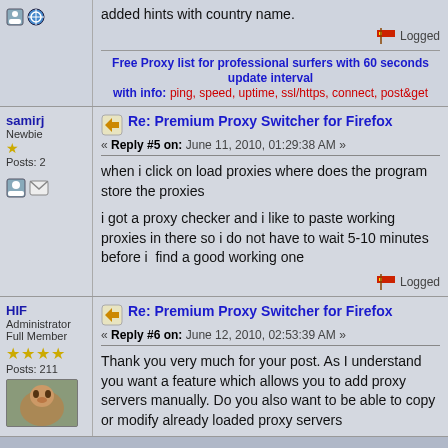added hints with country name.
Logged
Free Proxy list for professional surfers with 60 seconds update interval with info: ping, speed, uptime, ssl/https, connect, post&get
samirj
Newbie
Posts: 2
Re: Premium Proxy Switcher for Firefox
« Reply #5 on: June 11, 2010, 01:29:38 AM »
when i click on load proxies where does the program store the proxies

i got a proxy checker and i like to paste working proxies in there so i do not have to wait 5-10 minutes before i  find a good working one
Logged
HIF
Administrator
Full Member
Posts: 211
Re: Premium Proxy Switcher for Firefox
« Reply #6 on: June 12, 2010, 02:53:39 AM »
Thank you very much for your post. As I understand you want a feature which allows you to add proxy servers manually. Do you also want to be able to copy or modify already loaded proxy servers